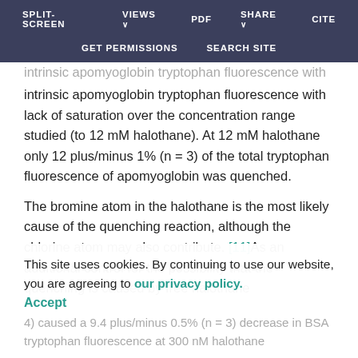SPLIT-SCREEN   VIEWS   PDF   SHARE   CITE   GET PERMISSIONS   SEARCH SITE
intrinsic apomyoglobin tryptophan fluorescence with lack of saturation over the concentration range studied (to 12 mM halothane). At 12 mM halothane only 12 plus/minus 1% (n = 3) of the total tryptophan fluorescence of apomyoglobin was quenched.
The bromine atom in the halothane is the most likely cause of the quenching reaction, although the chlorine atom may also contribute. [11]As an additional control for the possibility that the quenching is caused by free halothane
This site uses cookies. By continuing to use our website, you are agreeing to our privacy policy. Accept
4) caused a 9.4 plus/minus 0.5% (n = 3) decrease in BSA tryptophan fluorescence at 300 nM halothane